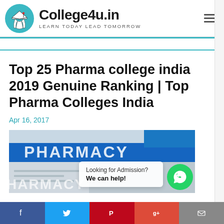College4u.in – LEARN TODAY LEAD TOMORROW
Top 25 Pharma college india 2019 Genuine Ranking | Top Pharma Colleges India
Apr 16, 2017
[Figure (photo): Pharmacy store exterior with blue signage showing 'PHARMACY' text, exterior of a retail pharmacy building]
Looking for Admission? We can help!